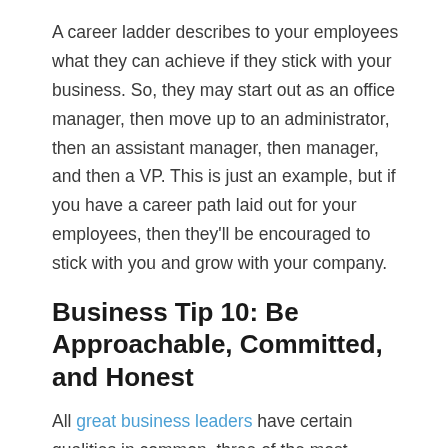A career ladder describes to your employees what they can achieve if they stick with your business. So, they may start out as an office manager, then move up to an administrator, then an assistant manager, then manager, and then a VP. This is just an example, but if you have a career path laid out for your employees, then they'll be encouraged to stick with you and grow with your company.
Business Tip 10: Be Approachable, Committed, and Honest
All great business leaders have certain qualities in common, three of the most important of which are being approachable, committed, and honest.